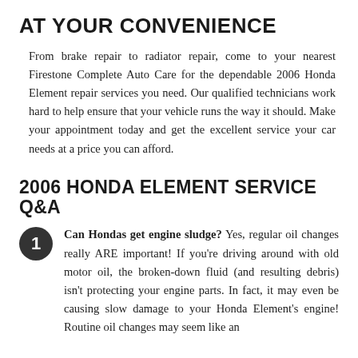AT YOUR CONVENIENCE
From brake repair to radiator repair, come to your nearest Firestone Complete Auto Care for the dependable 2006 Honda Element repair services you need. Our qualified technicians work hard to help ensure that your vehicle runs the way it should. Make your appointment today and get the excellent service your car needs at a price you can afford.
2006 HONDA ELEMENT SERVICE Q&A
Can Hondas get engine sludge? Yes, regular oil changes really ARE important! If you're driving around with old motor oil, the broken-down fluid (and resulting debris) isn't protecting your engine parts. In fact, it may even be causing slow damage to your Honda Element's engine! Routine oil changes may seem like an